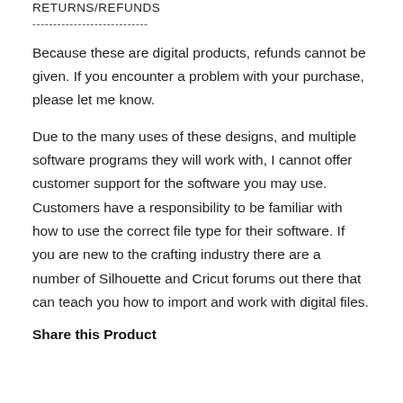RETURNS/REFUNDS
----------------------------
Because these are digital products, refunds cannot be given. If you encounter a problem with your purchase, please let me know.
Due to the many uses of these designs, and multiple software programs they will work with, I cannot offer customer support for the software you may use. Customers have a responsibility to be familiar with how to use the correct file type for their software. If you are new to the crafting industry there are a number of Silhouette and Cricut forums out there that can teach you how to import and work with digital files.
Share this Product